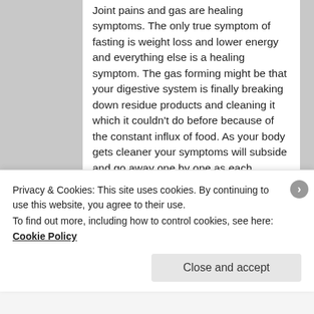Joint pains and gas are healing symptoms. The only true symptom of fasting is weight loss and lower energy and everything else is a healing symptom. The gas forming might be that your digestive system is finally breaking down residue products and cleaning it which it couldn't do before because of the constant influx of food. As your body gets cleaner your symptoms will subside and go away one by one as each problem is healed.
Please read my summary on how dry fasting works:
https://docs.google.com/document/d/1WA
Privacy & Cookies: This site uses cookies. By continuing to use this website, you agree to their use.
To find out more, including how to control cookies, see here: Cookie Policy
Close and accept